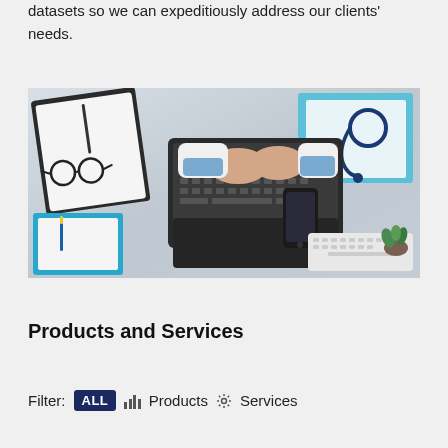datasets so we can expeditiously address our clients' needs.
[Figure (photo): Overhead (top-down) view of a doctor or medical professional in a white coat typing on a laptop at a desk. Surrounding items include a clipboard with blank paper and a pen, glasses, a small glass of water, a smartphone, a white wireless keyboard, a blue notepad with a pen, a stethoscope on a blue folder, and a small plant or decoration. The scene conveys a medical professional working digitally.]
Products and Services
Filter:  ALL  [bar chart icon]  Products  [gear icon]  Services